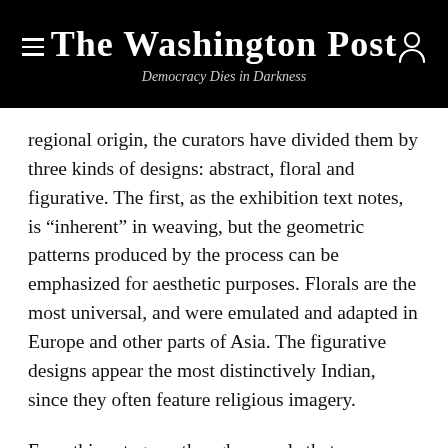The Washington Post
Democracy Dies in Darkness
regional origin, the curators have divided them by three kinds of designs: abstract, floral and figurative. The first, as the exhibition text notes, is “inherent” in weaving, but the geometric patterns produced by the process can be emphasized for aesthetic purposes. Florals are the most universal, and were emulated and adapted in Europe and other parts of Asia. The figurative designs appear the most distinctively Indian, since they often feature religious imagery.
Even this category, though, reveals that entrepreneurial Indian weavers were willing to cater to foreign preferences. The elaborate theological designs include one that depicts the coronation of Rama, a major Hindu